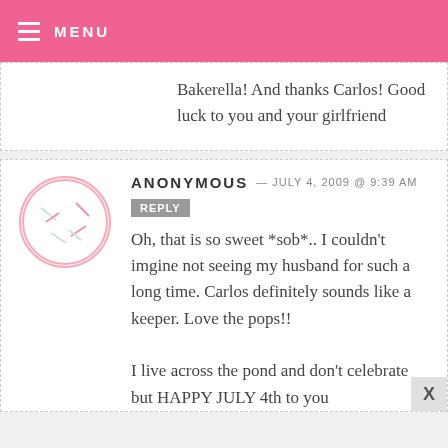MENU
Bakerella! And thanks Carlos! Good luck to you and your girlfriend
ANONYMOUS — JULY 4, 2009 @ 9:39 AM  REPLY
Oh, that is so sweet *sob*.. I couldn't imgine not seeing my husband for such a long time. Carlos definitely sounds like a keeper. Love the pops!! I live across the pond and don't celebrate but HAPPY JULY 4th to you